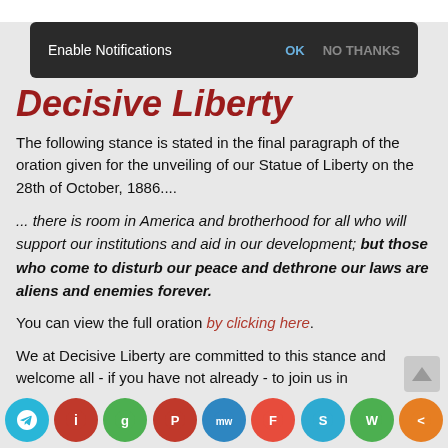[Figure (screenshot): Browser notification popup bar with dark background saying 'Enable Notifications' with OK and NO THANKS options]
Decisive Liberty
The following stance is stated in the final paragraph of the oration given for the unveiling of our Statue of Liberty on the 28th of October, 1886....
... there is room in America and brotherhood for all who will support our institutions and aid in our development; but those who come to disturb our peace and dethrone our laws are aliens and enemies forever.
You can view the full oration by clicking here.
We at Decisive Liberty are committed to this stance and welcome all - if you have not already - to join us in learning to live by this stance...
[Figure (screenshot): Social media sharing icons bar at bottom: Telegram, Instapaper, Goodreads, Parler, MeWe, Flipboard, Skype, WhatsApp, Share]